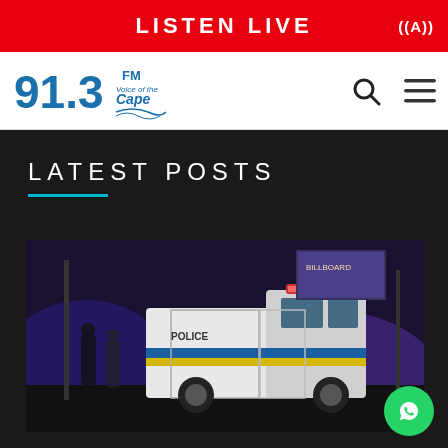LISTEN LIVE
[Figure (logo): 91.3 FM Voice of the Cape radio station logo in blue]
LATEST POSTS
[Figure (photo): Night scene with a South African Police Service van parked on a street, with people visible in the background under purple-tinted lighting]